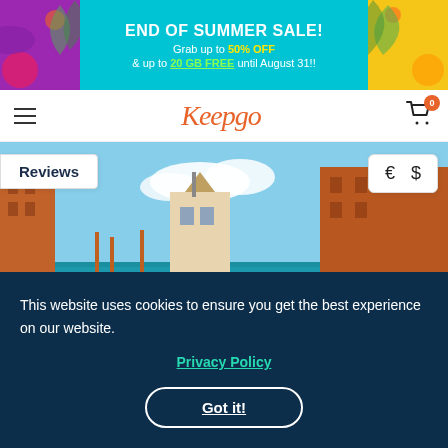[Figure (infographic): End of Summer Sale banner with tropical colors. Text: END OF SUMMER SALE! Grab up to 50% OFF & up to 20 GB FREE until August 31!]
Keepgo navigation bar with hamburger menu, Keepgo logo, and shopping cart with badge 0
[Figure (photo): Venice Grand Canal photo with boats and colorful buildings. Reviews badge on left, Euro/Dollar currency selector on right.]
Internet Options in Italy
This website uses cookies to ensure you get the best experience on our website.
Privacy Policy
Got it!